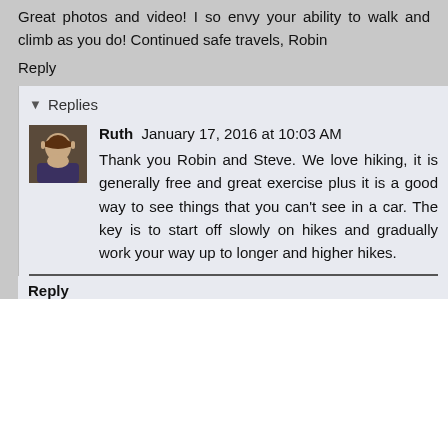Great photos and video! I so envy your ability to walk and climb as you do! Continued safe travels, Robin
Reply
Replies
Ruth  January 17, 2016 at 10:03 AM
Thank you Robin and Steve. We love hiking, it is generally free and great exercise plus it is a good way to see things that you can't see in a car. The key is to start off slowly on hikes and gradually work your way up to longer and higher hikes.
Reply